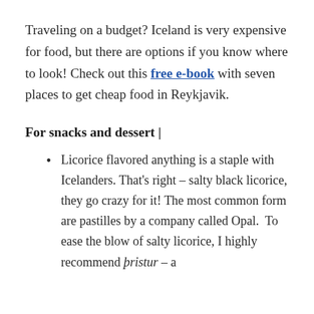Traveling on a budget? Iceland is very expensive for food, but there are options if you know where to look! Check out this free e-book with seven places to get cheap food in Reykjavik.
For snacks and dessert |
Licorice flavored anything is a staple with Icelanders. That's right – salty black licorice, they go crazy for it! The most common form are pastilles by a company called Opal.  To ease the blow of salty licorice, I highly recommend þristur – a